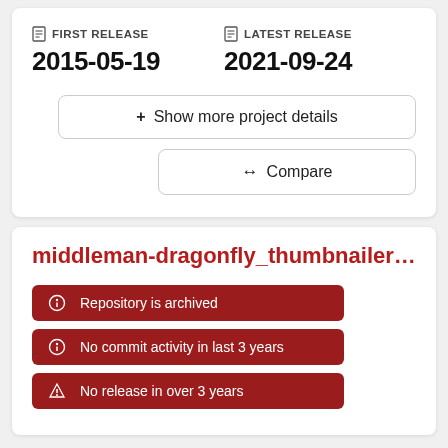FIRST RELEASE
2015-05-19
LATEST RELEASE
2021-09-24
+ Show more project details
↔ Compare
middleman-dragonfly_thumbnailer 🧪 0.
Repository is archived
No commit activity in last 3 years
No release in over 3 years